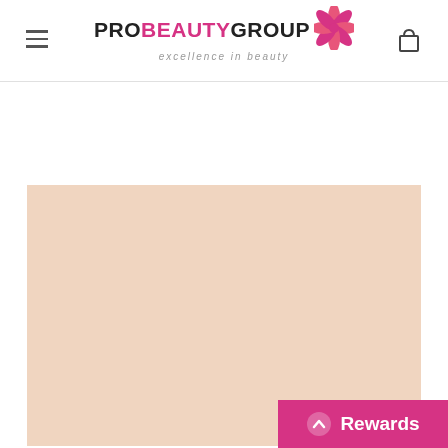PRO BEAUTY GROUP excellence in beauty
[Figure (photo): Large pale peach/nude colored product image area with solid flat background color]
[Figure (logo): ProBeautyGroup logo with pink flower/leaf icon and text 'excellence in beauty']